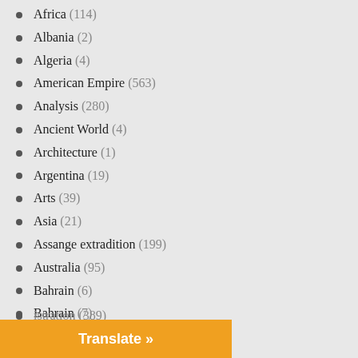Africa (114)
Albania (2)
Algeria (4)
American Empire (563)
Analysis (280)
Ancient World (4)
Architecture (1)
Argentina (19)
Arts (39)
Asia (21)
Assange extradition (199)
Australia (95)
Bahrain (6)
Bahrain (7)
Ban Ki-Moon (2)
Bangladesh (2)
Belarus (6)
Belgium (8)
Biden Administration (389)